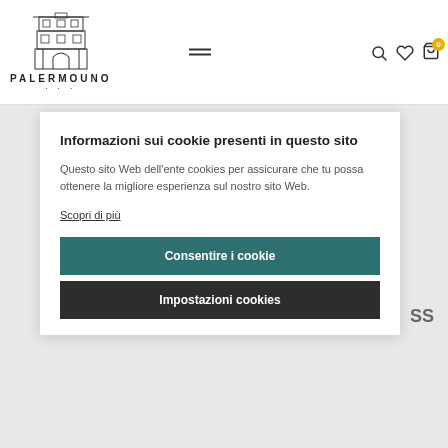[Figure (logo): Palermouno logo with building illustration and text PALERMOUNO]
Informazioni sui cookie presenti in questo sito
Questo sito Web dell'ente cookies per assicurare che tu possa ottenere la migliore esperienza sul nostro sito Web.
Scopri di più
Consentire i cookie
Impostazioni cookies